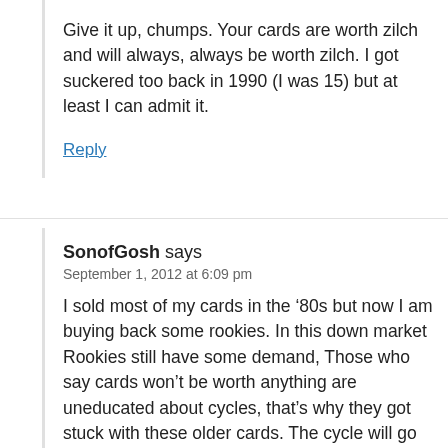Give it up, chumps. Your cards are worth zilch and will always, always be worth zilch. I got suckered too back in 1990 (I was 15) but at least I can admit it.
Reply
SonofGosh says
September 1, 2012 at 6:09 pm
I sold most of my cards in the ‘ 80s but now I am buying back some rookies. In this down market Rookies still have some demand, Those who say cards won’t be worth anything are uneducated about cycles, that’s why they got stuck with these older cards. The cycle will go back up. These cards won’t be worth thousands but could be worth 10x what they are now. When I